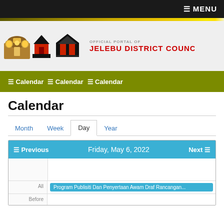☰ MENU
[Figure (logo): Official portal logos with three emblems/crests for a district council]
OFFICIAL PORTAL OF
JELEBU DISTRICT COUNCIL
☰ Calendar ☰ Calendar ☰ Calendar
Calendar
Month  Week  Day  Year
| Previous | Friday, May 6, 2022 | Next |
| --- | --- | --- |
|  |  |  |
| All | Program Publisiti Dan Penyertaan Awam Draf Rancangan... |  |
| Before |  |  |